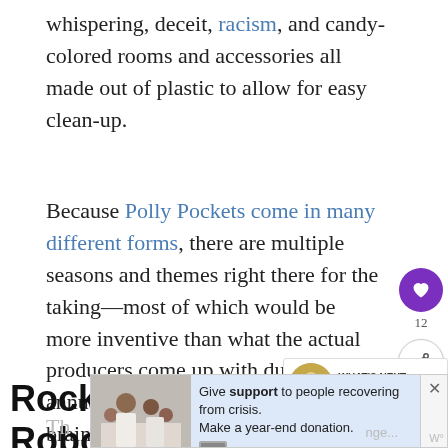whispering, deceit, racism, and candy-colored rooms and accessories all made out of plastic to allow for easy clean-up.
Because Polly Pockets come in many different forms, there are multiple seasons and themes right there for the taking—most of which would be more inventive than what the actual producers come up with during their annual fling-feces-at-the-wall brainstorming session.
Rock ‘Em Sock ‘Em Robots
[Figure (other): Advertisement banner with image of people and text: Give support to people recovering from crisis. Make a year-end donation.]